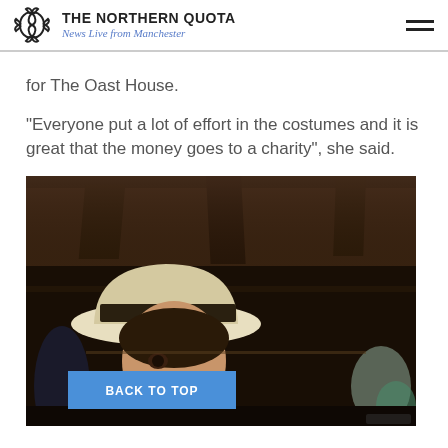THE NORTHERN QUOTA — News Live from Manchester
for The Oast House.
“Everyone put a lot of effort in the costumes and it is great that the money goes to a charity”, she said.
[Figure (photo): A person wearing a cream-coloured 1920s-style hat with a dark band, photographed from below with wooden ceiling beams visible above and an orange heat lamp glowing in the background. A blue 'BACK TO TOP' button overlay appears on the lower-left of the image.]